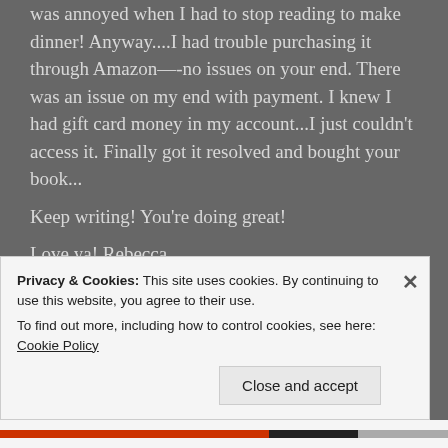was annoyed when I had to stop reading to make dinner! Anyway....I had trouble purchasing it through Amazon—-no issues on your end. There was an issue on my end with payment. I knew I had gift card money in my account...I just couldn't access it. Finally got it resolved and bought your book... Keep writing! You're doing great!
Love ya! Rebecca
On Wed, Aug 16, 2017 at 3:11 AM, Elizabeth
Privacy & Cookies: This site uses cookies. By continuing to use this website, you agree to their use. To find out more, including how to control cookies, see here: Cookie Policy
Close and accept